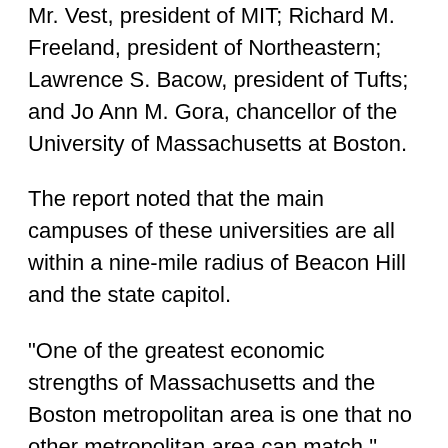Mr. Vest, president of MIT; Richard M. Freeland, president of Northeastern; Lawrence S. Bacow, president of Tufts; and Jo Ann M. Gora, chancellor of the University of Massachusetts at Boston.
The report noted that the main campuses of these universities are all within a nine-mile radius of Beacon Hill and the state capitol.
"One of the greatest economic strengths of Massachusetts and the Boston metropolitan area is one that no other metropolitan area can match," said Hugh O'Neill, president of Appleseed, the New York economic research firm that produced the report. "These eight institutions for decades have been a leading source of the region's economic vitality and growth. They attract billions of federal research